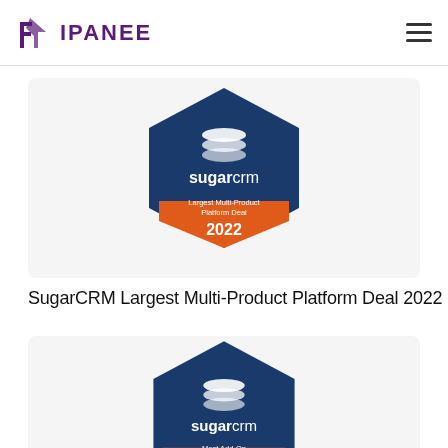IPANEE (logo) — navigation hamburger menu
[Figure (logo): SugarCRM Largest Multi-Product Platform Deal 2022 badge — dark navy blue hexagon shape with orange bottom section, white stacked layers icon, text 'sugarcrm' in white/bold, 'Largest Multi-Product Platform Deal' and '2022' in white on orange]
SugarCRM Largest Multi-Product Platform Deal 2022
[Figure (logo): SugarCRM Most Add-On badge — partially visible at bottom of page, same dark navy blue hexagon shape with orange accent, white stacked layers icon, 'sugarcrm' text visible, 'Most Add-On' partially shown]